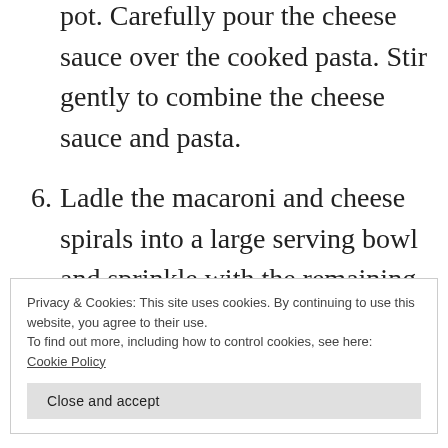pot. Carefully pour the cheese sauce over the cooked pasta. Stir gently to combine the cheese sauce and pasta.
6. Ladle the macaroni and cheese spirals into a large serving bowl and sprinkle with the remaining ½ cup of sharp cheddar cheese.
7. Serve immediately.
Privacy & Cookies: This site uses cookies. By continuing to use this website, you agree to their use.
To find out more, including how to control cookies, see here:
Cookie Policy
Close and accept